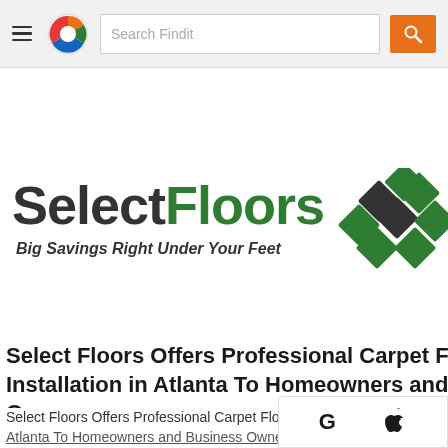[Figure (screenshot): Navigation bar with hamburger menu, Findit logo (circular icon with colored segments), search box labeled 'Search Findit', and orange search button]
[Figure (logo): SelectFloors logo with text 'Select' in dark gray bold and 'Floors' in green bold, tagline 'Big Savings Right Under Your Feet', and a diamond/tile pattern icon in green and dark gray on the right]
Select Floors Offers Professional Carpet Flooring Installation in Atlanta To Homeowners and Business Owners
Select Floors Offers Professional Carpet Flooring Installation in Atlanta To Homeowners and Business Owners